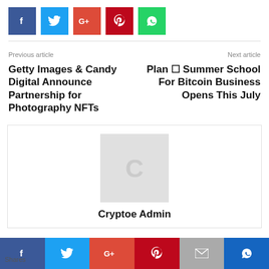[Figure (infographic): Row of 5 social share buttons: Facebook (dark blue, f icon), Twitter (light blue, bird icon), Google+ (red, G+ icon), Pinterest (dark red, P icon), WhatsApp (green, phone icon)]
Previous article
Next article
Getty Images & Candy Digital Announce Partnership for Photography NFTs
Plan ▶ Summer School For Bitcoin Business Opens This July
[Figure (photo): Avatar placeholder image with light gray background and a stylized C (Cryptoe) logo watermark in the center]
Cryptoe Admin
[Figure (infographic): Bottom social sharing bar with Facebook, Twitter, Google+, Pinterest, Email, and WhatsApp buttons. 'Shares' label on the left.]